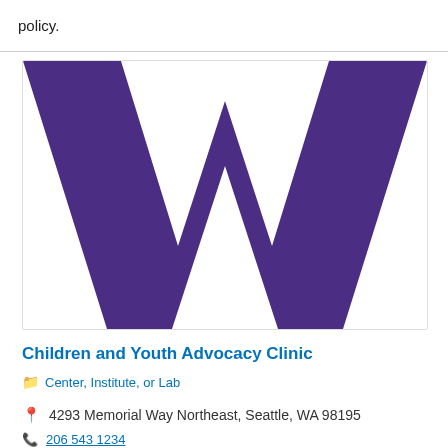policy.
[Figure (logo): University of Washington block 'W' logo in purple on white background]
Children and Youth Advocacy Clinic
Center, Institute, or Lab
4293 Memorial Way Northeast, Seattle, WA 98195